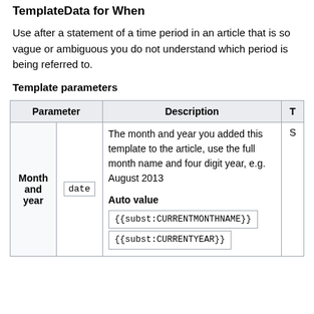TemplateData for When
Use after a statement of a time period in an article that is so vague or ambiguous you do not understand which period is being referred to.
Template parameters
| Parameter | Description | T |
| --- | --- | --- |
| Month and year / date | The month and year you added this template to the article, use the full month name and four digit year, e.g. August 2013
Auto value
{{subst:CURRENTMONTHNAME}}
{{subst:CURRENTYEAR}} | S |